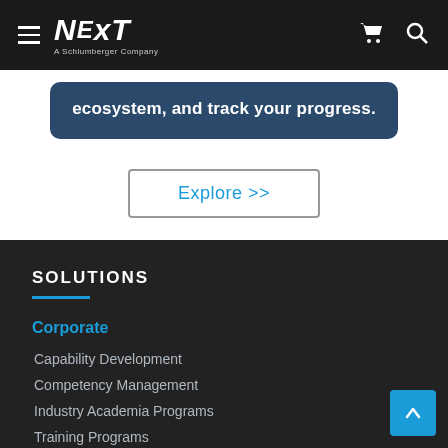NEXT A Schlumberger Company
ecosystem, and track your progress.
Explore >>
SOLUTIONS
Corporate
Capability Development
Competency Management
Industry Academia Programs
Training Programs
Discipline Based